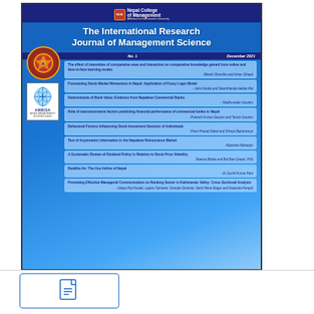[Figure (illustration): Cover of The International Research Journal of Management Science, Vol. 6, No. 1, December 2021, Nepal College of Management, showing list of article titles and authors on a blue gradient background with NCM and AMBISA logos.]
[Figure (other): PDF download button icon — document icon with page-fold corner inside a rounded rectangle border.]